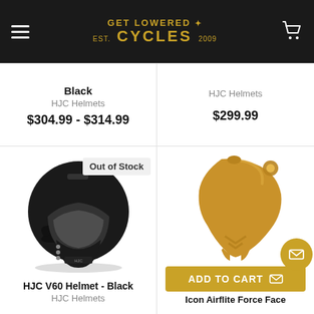[Figure (logo): Get Lowered Cycles logo with hamburger menu and cart icon on dark background]
Black
HJC Helmets
$304.99 - $314.99
HJC Helmets
$299.99
[Figure (photo): HJC V60 full-face motorcycle helmet in black with visor, out of stock badge overlay]
HJC V60 Helmet - Black
HJC Helmets
[Figure (photo): Icon Airflite Force Face visor/chin guard in gold/tan color]
ADD TO CART
Icon Airflite Force Face